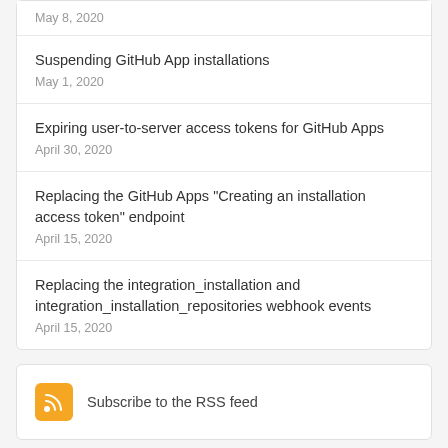May 8, 2020
Suspending GitHub App installations
May 1, 2020
Expiring user-to-server access tokens for GitHub Apps
April 30, 2020
Replacing the GitHub Apps "Creating an installation access token" endpoint
April 15, 2020
Replacing the integration_installation and integration_installation_repositories webhook events
April 15, 2020
Subscribe to the RSS feed